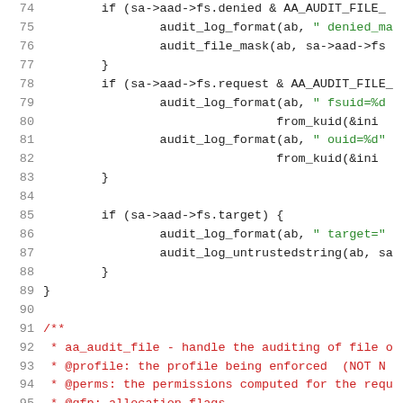Code listing lines 74-95 showing C source code for aa_audit_file function
74: if (sa->aad->fs.denied & AA_AUDIT_FILE_...
75: audit_log_format(ab, " denied_ma...
76: audit_file_mask(ab, sa->aad->fs...
77: }
78: if (sa->aad->fs.request & AA_AUDIT_FILE_...
79: audit_log_format(ab, " fsuid=%d...
80: from_kuid(&ini...
81: audit_log_format(ab, " ouid=%d"...
82: from_kuid(&ini...
83: }
84: (blank)
85: if (sa->aad->fs.target) {
86: audit_log_format(ab, " target="...
87: audit_log_untrustedstring(ab, sa...
88: }
89: }
90: (blank)
91: /**
92: * aa_audit_file - handle the auditing of file o...
93: * @profile: the profile being enforced  (NOT N...
94: * @perms: the permissions computed for the requ...
95: * @gfp: allocation_flags